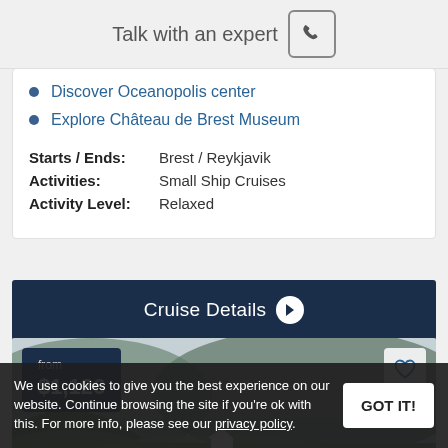Talk with an expert
Discover Oceanopolis center
Explore Château de Brest Museum
Starts / Ends: Brest / Reykjavik
Activities: Small Ship Cruises
Activity Level: Relaxed
Cruise Details →
[Figure (photo): Scenic landscape photo of misty green hills with a lone white house, price badge showing 'from $1,126']
We use cookies to give you the best experience on our website. Continue browsing the site if you're ok with this. For more info, please see our privacy policy.